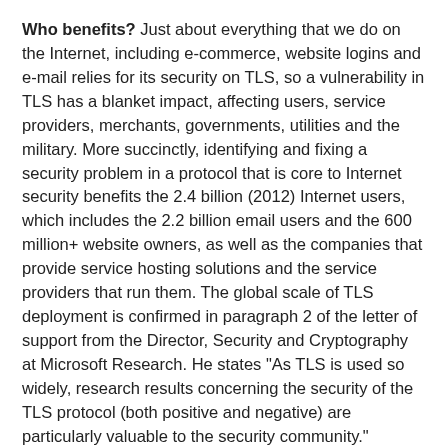Who benefits? Just about everything that we do on the Internet, including e-commerce, website logins and e-mail relies for its security on TLS, so a vulnerability in TLS has a blanket impact, affecting users, service providers, merchants, governments, utilities and the military. More succinctly, identifying and fixing a security problem in a protocol that is core to Internet security benefits the 2.4 billion (2012) Internet users, which includes the 2.2 billion email users and the 600 million+ website owners, as well as the companies that provide service hosting solutions and the service providers that run them. The global scale of TLS deployment is confirmed in paragraph 2 of the letter of support from the Director, Security and Cryptography at Microsoft Research. He states "As TLS is used so widely, research results concerning the security of the TLS protocol (both positive and negative) are particularly valuable to the security community."
How do they benefit? The global annual value of e-commerce alone has been estimated at several trillions of USD. To suggest a percentage of this that could be affected by the research would be speculation, and of course by detecting and preventing a problem we lose the chance to measure its effects. However, it is clear that